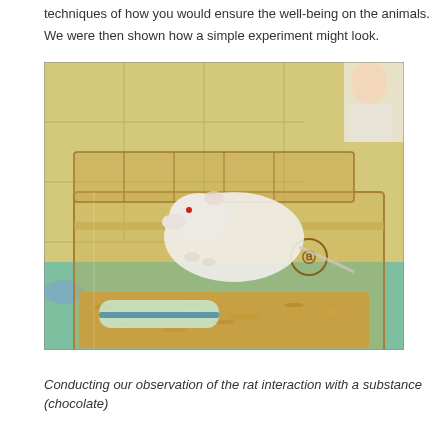techniques of how you would ensure the well-being on the animals. We were then shown how a simple experiment might look.
[Figure (photo): A white rat inside a transparent plastic cage/container with bedding material (wood shavings) and a water bottle with blue tape. The container is placed on a green surface against a yellow-tiled wall background. A researcher is partially visible in the upper right corner.]
Conducting our observation of the rat interaction with a substance (chocolate)